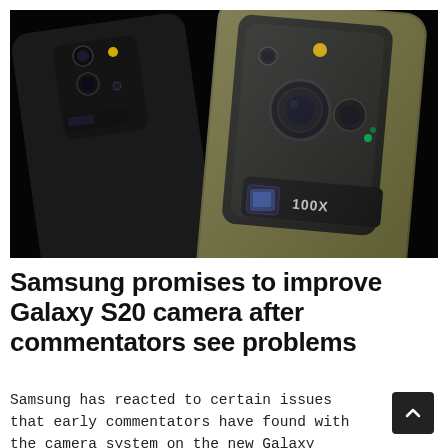[Figure (photo): Two Samsung Galaxy S20 Ultra smartphones shown from the back, one in dark olive/gold color in foreground and one in black in background, both displaying their large square camera modules with multiple lenses. The gold one shows '100X' label. Set against a black background.]
Samsung promises to improve Galaxy S20 camera after commentators see problems
Samsung has reacted to certain issues that early commentators have found with the camera system on the new Galaxy S20...